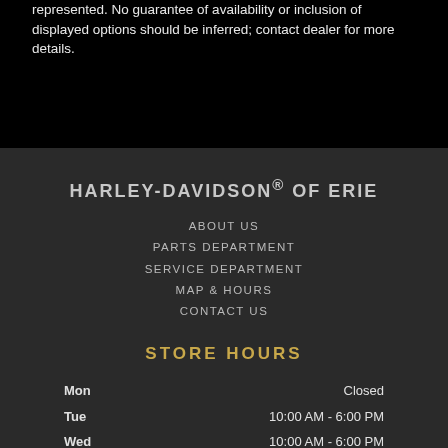represented. No guarantee of availability or inclusion of displayed options should be inferred; contact dealer for more details.
HARLEY-DAVIDSON® OF ERIE
ABOUT US
PARTS DEPARTMENT
SERVICE DEPARTMENT
MAP & HOURS
CONTACT US
STORE HOURS
| Day | Hours |
| --- | --- |
| Mon | Closed |
| Tue | 10:00 AM - 6:00 PM |
| Wed | 10:00 AM - 6:00 PM |